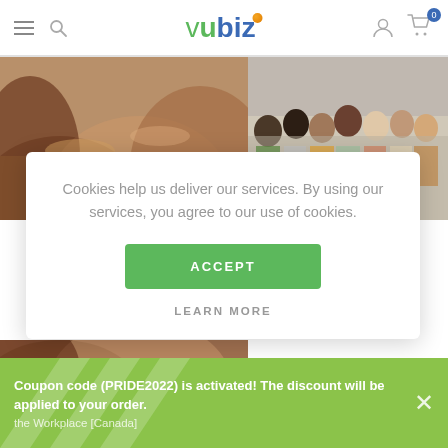[Figure (screenshot): Vubiz e-learning website header with logo, navigation icons (hamburger menu, search, user, cart with 0 badge), background images of people collaborating and a diverse group, a cookie consent modal with ACCEPT button and LEARN MORE link, and a green coupon banner at the bottom]
Cookies help us deliver our services. By using our services, you agree to our use of cookies.
ACCEPT
LEARN MORE
Coupon code (PRIDE2022) is activated! The discount will be applied to your order.
the Workplace [Canada]